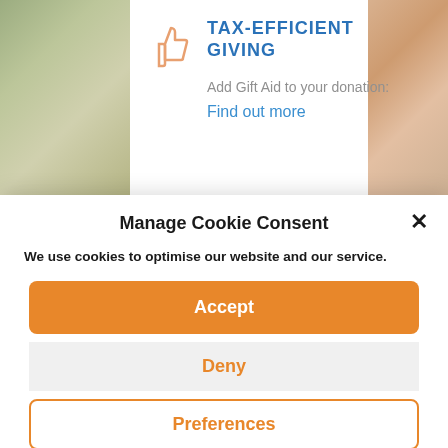[Figure (screenshot): Website background with blurred green nature image on left and blurred face/skin image on right]
TAX-EFFICIENT GIVING
Add Gift Aid to your donation:
Find out more
Manage Cookie Consent
We use cookies to optimise our website and our service.
Accept
Deny
Preferences